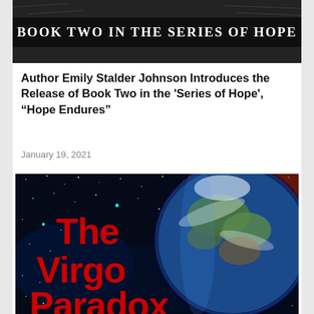[Figure (photo): Top portion of a book cover showing 'Book Two in the Series of Hope' text on a dark background with animal imagery]
Author Emily Stalder Johnson Introduces the Release of Book Two in the 'Series of Hope', “Hope Endures”
January 19, 2021
[Figure (photo): Book cover for 'The Virgo Paradox' showing a space scene with a planet Earth visible, surrounded by stars and nebula, with large red text reading 'The Virgo Paradox']